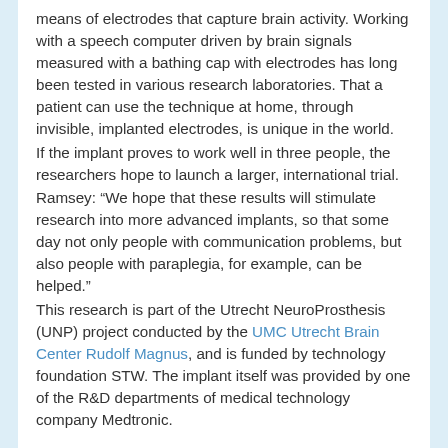means of electrodes that capture brain activity. Working with a speech computer driven by brain signals measured with a bathing cap with electrodes has long been tested in various research laboratories. That a patient can use the technique at home, through invisible, implanted electrodes, is unique in the world. If the implant proves to work well in three people, the researchers hope to launch a larger, international trial. Ramsey: “We hope that these results will stimulate research into more advanced implants, so that some day not only people with communication problems, but also people with paraplegia, for example, can be helped.” This research is part of the Utrecht NeuroProsthesis (UNP) project conducted by the UMC Utrecht Brain Center Rudolf Magnus, and is funded by technology foundation STW. The implant itself was provided by one of the R&D departments of medical technology company Medtronic.